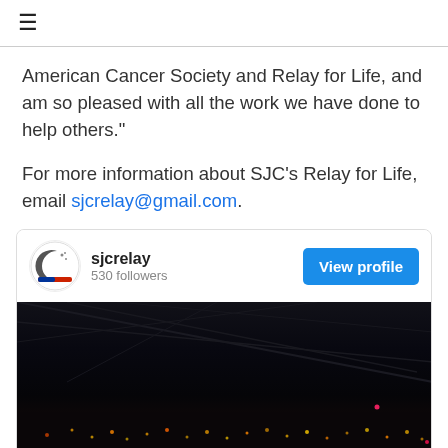≡
American Cancer Society and Relay for Life, and am so pleased with all the work we have done to help others."
For more information about SJC's Relay for Life, email sjcrelay@gmail.com.
[Figure (screenshot): Embedded Twitter/social media profile widget for 'sjcrelay' with 530 followers, a 'View profile' button, and a dark nighttime photo below.]